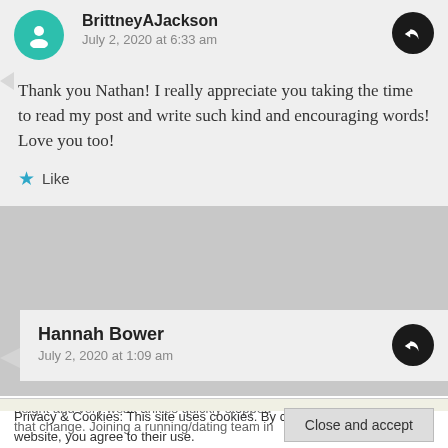BrittneyAJackson
July 2, 2020 at 6:33 am
Thank you Nathan! I really appreciate you taking the time to read my post and write such kind and encouraging words! Love you too!
Like
Hannah Bower
July 2, 2020 at 1:09 am
Privacy & Cookies: This site uses cookies. By continuing to use this website, you agree to their use.
To find out more, including how to control cookies, see here: Cookie Policy
Close and accept
height and very weak ankles quickly stopped
that change. Joining a running/dating team in